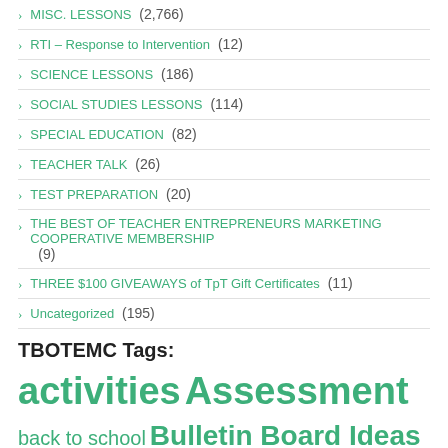MISC. LESSONS (2,766)
RTI – Response to Intervention (12)
SCIENCE LESSONS (186)
SOCIAL STUDIES LESSONS (114)
SPECIAL EDUCATION (82)
TEACHER TALK (26)
TEST PREPARATION (20)
THE BEST OF TEACHER ENTREPRENEURS MARKETING COOPERATIVE MEMBERSHIP (9)
THREE $100 GIVEAWAYS of TpT Gift Certificates (11)
Uncategorized (195)
TBOTEMC Tags:
activities Assessment back to school Bulletin Board Ideas close reading creative writing Distant Learning Easel Activity English Language Arts Flash Cards free fun stuff games grammar Graphic Organizers guided